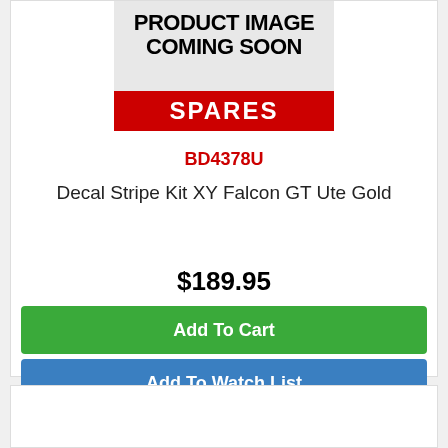[Figure (illustration): Product image placeholder showing 'PRODUCT IMAGE COMING SOON' text with a red SPARES banner at the bottom]
BD4378U
Decal Stripe Kit XY Falcon GT Ute Gold
$189.95
Add To Cart
Add To Watch List